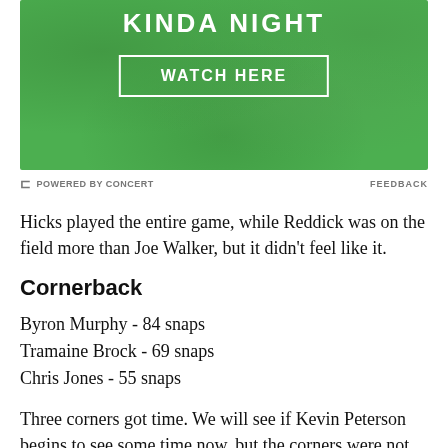[Figure (other): Green textured advertisement banner with bold white text 'KINDA NIGHT' at top and a white-bordered button reading 'WATCH HERE' in the center]
POWERED BY CONCERT    FEEDBACK
Hicks played the entire game, while Reddick was on the field more than Joe Walker, but it didn't feel like it.
Cornerback
Byron Murphy - 84 snaps
Tramaine Brock - 69 snaps
Chris Jones - 55 snaps
Three corners got time. We will see if Kevin Peterson begins to see some time now, but the corners were not bad, they each blew one assignment, but they were not